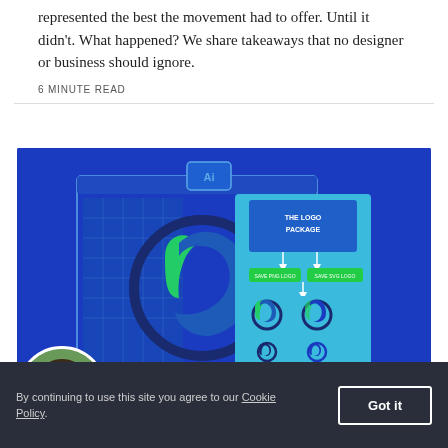represented the best the movement had to offer. Until it didn't. What happened? We share takeaways that no designer or business should ignore.
6 MINUTE READ
[Figure (screenshot): A blue-themed graphic showing an Adobe Illustrator window with a logo design featuring a stylized 'b' shape in blue and green. On the right side is a 'The Logo Package' panel showing multiple logo variations on a light blue background.]
[Figure (photo): Circular avatar photo of a man with short hair, smiling, wearing a blue shirt, outdoors with green background.]
By continuing to use this site you agree to our Cookie Policy.
Got it
Designed, Sealed, Delivered...